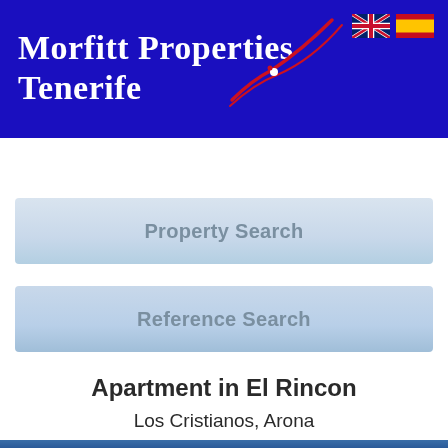[Figure (logo): Morfitt Properties Tenerife logo on dark blue banner with red swoosh graphic and UK/Spain flag icons in top right]
Property Search
Reference Search
Apartment in El Rincon
Los Cristianos, Arona